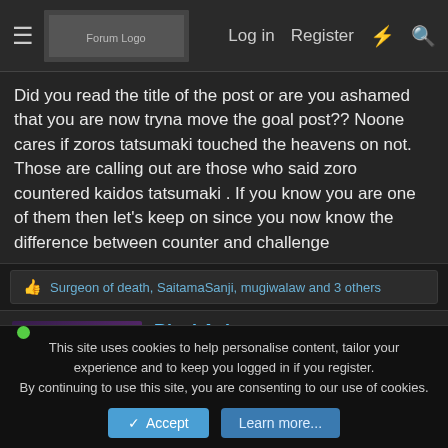Log in  Register
Did you read the title of the post or are you ashamed that you are now tryna move the goal post?? Noone cares if zoros tatsumaki touched the heavens on not. Those are calling out are those who said zoro countered kaidos tatsumaki . If you know you are one of them then let's keep on since you now know the difference between counter and challenge
Surgeon of death, SaitamaSanji, mugiwalaw and 3 others
BleakAsh
[Figure (photo): User avatar silhouette with striped overlay and green online indicator dot]
[Figure (photo): Banner image showing a character with text HAPPY ANNIVERSARY at the bottom]
This site uses cookies to help personalise content, tailor your experience and to keep you logged in if you register.
By continuing to use this site, you are consenting to our use of cookies.
Accept  Learn more...